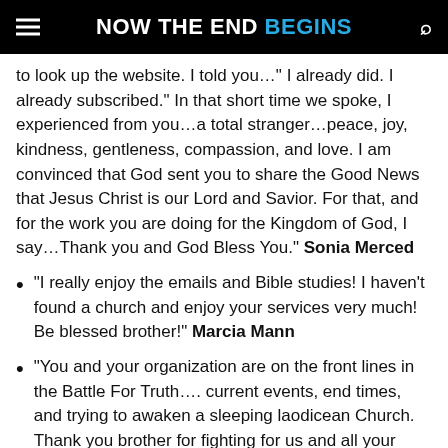NOW THE END BEGINS
to look up the website. I told you…" I already did. I already subscribed." In that short time we spoke, I experienced from you…a total stranger…peace, joy, kindness, gentleness, compassion, and love. I am convinced that God sent you to share the Good News that Jesus Christ is our Lord and Savior. For that, and for the work you are doing for the Kingdom of God, I say…Thank you and God Bless You." Sonia Merced
"I really enjoy the emails and Bible studies! I haven't found a church and enjoy your services very much! Be blessed brother!" Marcia Mann
"You and your organization are on the front lines in the Battle For Truth…. current events, end times, and trying to awaken a sleeping laodicean Church. Thank you brother for fighting for us and all your